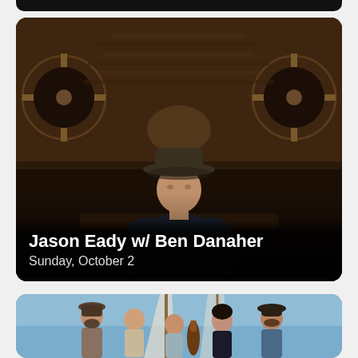[Figure (photo): Partial bottom of a previous event card, dark background with rounded bottom corners]
[Figure (photo): Photo of a man wearing a dark hat and black denim jacket, sitting with arms crossed, in front of a rustic wooden barn interior with large fans. White text overlay reads 'Jason Eady w/ Ben Danaher' and 'Sunday, October 2'.]
Jason Eady w/ Ben Danaher
Sunday, October 2
[Figure (photo): Photo of a group of five musicians standing on a sailboat under a blue sky, partial view at bottom of page]